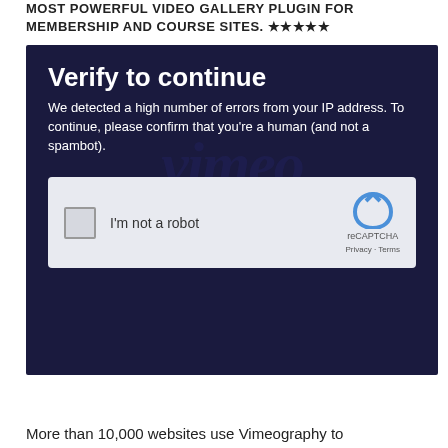MOST POWERFUL VIDEO GALLERY PLUGIN FOR MEMBERSHIP AND COURSE SITES. ★★★★★
[Figure (screenshot): Screenshot of a Vimeo 'Verify to continue' page showing a reCAPTCHA widget. Dark navy background with large white bold text 'Verify to continue', the Vimeo logo watermark in the center, body text 'We detected a high number of errors from your IP address. To continue, please confirm that you are a human (and not a spambot).', and a reCAPTCHA checkbox labeled 'I'm not a robot' with the reCAPTCHA logo, Privacy and Terms links.]
More than 10,000 websites use Vimeography to